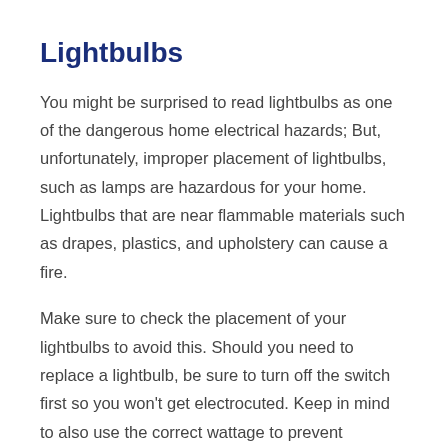Lightbulbs
You might be surprised to read lightbulbs as one of the dangerous home electrical hazards; But, unfortunately, improper placement of lightbulbs, such as lamps are hazardous for your home. Lightbulbs that are near flammable materials such as drapes, plastics, and upholstery can cause a fire.
Make sure to check the placement of your lightbulbs to avoid this. Should you need to replace a lightbulb, be sure to turn off the switch first so you won't get electrocuted. Keep in mind to also use the correct wattage to prevent chances of overheating and blowing up of lightbulbs.